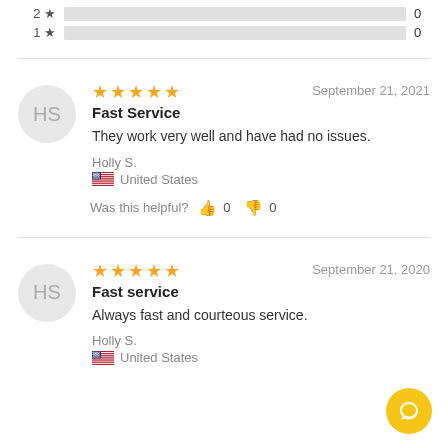[Figure (infographic): Rating bars for 2-star and 1-star reviews, both showing 0 count with gray bars]
[Figure (infographic): Review card: 5-star rating, title 'Fast Service', date September 21 2021, reviewer Holly S. from United States, text: They work very well and have had no issues. Was this helpful? thumbs up 0, thumbs down 0]
[Figure (infographic): Review card: 5-star rating, title 'Fast service', date September 21 2020, reviewer Holly S. from United States, text: Always fast and courteous service.]